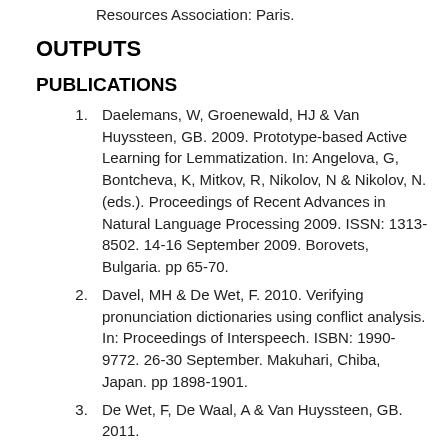Resources Association: Paris.
OUTPUTS
PUBLICATIONS
Daelemans, W, Groenewald, HJ & Van Huyssteen, GB. 2009. Prototype-based Active Learning for Lemmatization. In: Angelova, G, Bontcheva, K, Mitkov, R, Nikolov, N & Nikolov, N. (eds.). Proceedings of Recent Advances in Natural Language Processing 2009. ISSN: 1313-8502. 14-16 September 2009. Borovets, Bulgaria. pp 65-70.
Davel, MH & De Wet, F. 2010. Verifying pronunciation dictionaries using conflict analysis. In: Proceedings of Interspeech. ISBN: 1990-9772. 26-30 September. Makuhari, Chiba, Japan. pp 1898-1901.
De Wet, F, De Waal, A & Van Huyssteen, GB. 2011.